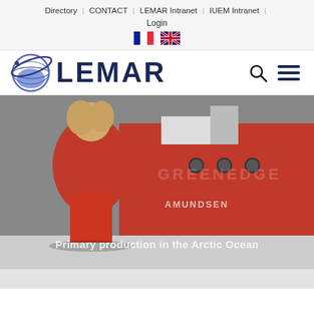Directory | CONTACT | LEMAR Intranet | IUEM Intranet | Login
[Figure (logo): LEMAR laboratory logo with globe icon and text LEMAR in dark navy blue]
[Figure (photo): Researcher in red survival suit standing in front of red icebreaker ship AMUNDSEN with GREENEDGE text overlay and caption Primary production in the Arctic Ocean]